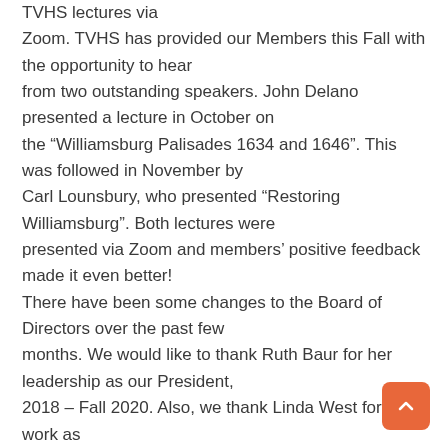TVHS lectures via Zoom. TVHS has provided our Members this Fall with the opportunity to hear from two outstanding speakers. John Delano presented a lecture in October on the “Williamsburg Palisades 1634 and 1646”. This was followed in November by Carl Lounsbury, who presented “Restoring Williamsburg”. Both lectures were presented via Zoom and members’ positive feedback made it even better! There have been some changes to the Board of Directors over the past few months. We would like to thank Ruth Baur for her leadership as our President, 2018 – Fall 2020. Also, we thank Linda West for her work as